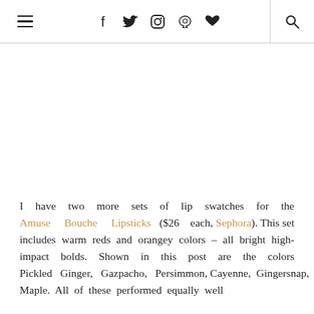≡  f  𝕥  ◎  𝙥  ♥  🔍
I have two more sets of lip swatches for the Amuse Bouche Lipsticks ($26 each, Sephora). This set includes warm reds and orangey colors – all bright high-impact bolds. Shown in this post are the colors Pickled Ginger, Gazpacho, Persimmon, Cayenne, Gingersnap, Sweet Cream and Maple. All of these performed equally well